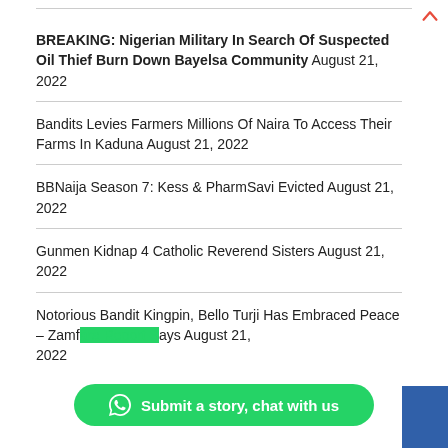BREAKING: Nigerian Military In Search Of Suspected Oil Thief Burn Down Bayelsa Community August 21, 2022
Bandits Levies Farmers Millions Of Naira To Access Their Farms In Kaduna August 21, 2022
BBNaija Season 7: Kess & PharmSavi Evicted August 21, 2022
Gunmen Kidnap 4 Catholic Reverend Sisters August 21, 2022
Notorious Bandit Kingpin, Bello Turji Has Embraced Peace – Zamfara Report Says August 21, 2022